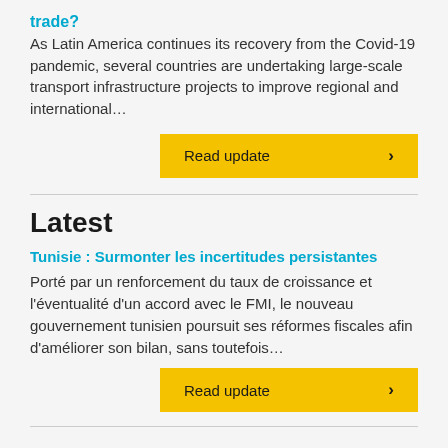trade?
As Latin America continues its recovery from the Covid-19 pandemic, several countries are undertaking large-scale transport infrastructure projects to improve regional and international…
Read update ›
Latest
Tunisie : Surmonter les incertitudes persistantes
Porté par un renforcement du taux de croissance et l'éventualité d'un accord avec le FMI, le nouveau gouvernement tunisien poursuit ses réformes fiscales afin d'améliorer son bilan, sans toutefois…
Read update ›